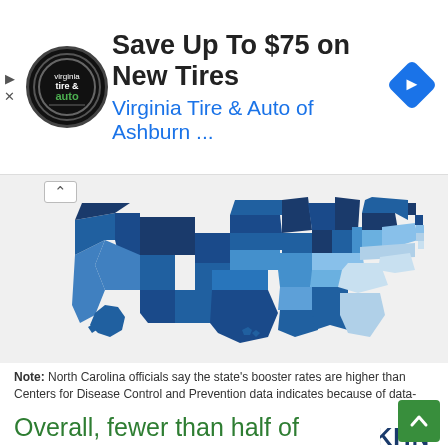[Figure (infographic): Advertisement banner for Virginia Tire & Auto of Ashburn with circular logo and navigation icon]
[Figure (map): Choropleth map of the United States showing booster vaccination rates by state, colored in shades of blue from light (lower rates) to dark (higher rates)]
Note: North Carolina officials say the state's booster rates are higher than Centers for Disease Control and Prevention data indicates because of data-sharing problems.
Source: U.S. Centers for Disease Control and Prevention
Credit: Phillip Reese for KHN  Embed  Download image
Overall, fewer than half of eligible Americans of all ages have received a